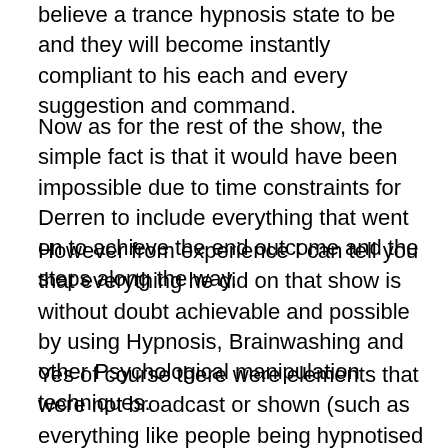believe a trance hypnosis state to be and they will become instantly compliant to his each and every suggestion and command.
Now as for the rest of the show, the simple fact is that it would have been impossible due to time constraints for Derren to include everything that went on to achieve the end outcome and the steps along the way.
However from experience I can tell you that everything he did on that show is without doubt achievable and possible by using Hypnosis, Brainwashing and other Psychological manipulation techniques.
Yes of course there were elements that were not broadcast or shown (such as everything like people being hypnotised at the audition process etc) and other times when I'm sure Derren would needed to have placed him